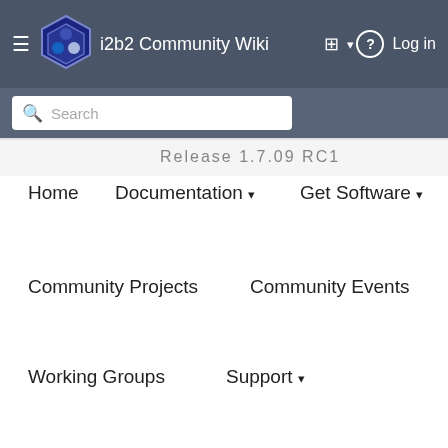i2b2 Community Wiki — Log in
Search
Release 1.7.09 RC1
Home
Documentation ▾
Get Software ▾
Community Projects
Community Events
Working Groups
Support ▾
Data Installation
Software Configuration
Additional Resources
was added. 20 Janice Donahoe Apr 04, 2017
This line was removed. 21 Janice Donahoe Apr 04, changed.